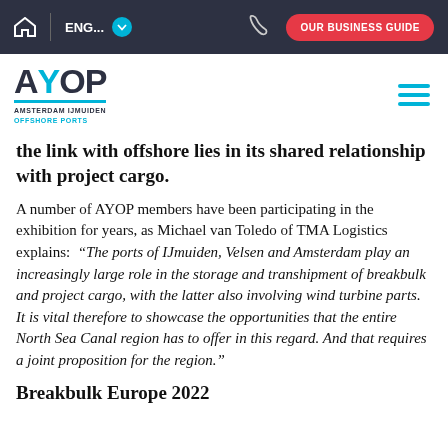ENG... | OUR BUSINESS GUIDE
[Figure (logo): AYOP Amsterdam IJmuiden Offshore Ports logo with teal underline bar and hamburger menu icon]
the link with offshore lies in its shared relationship with project cargo.
A number of AYOP members have been participating in the exhibition for years, as Michael van Toledo of TMA Logistics explains: “The ports of IJmuiden, Velsen and Amsterdam play an increasingly large role in the storage and transhipment of breakbulk and project cargo, with the latter also involving wind turbine parts. It is vital therefore to showcase the opportunities that the entire North Sea Canal region has to offer in this regard. And that requires a joint proposition for the region.”
Breakbulk Europe 2022